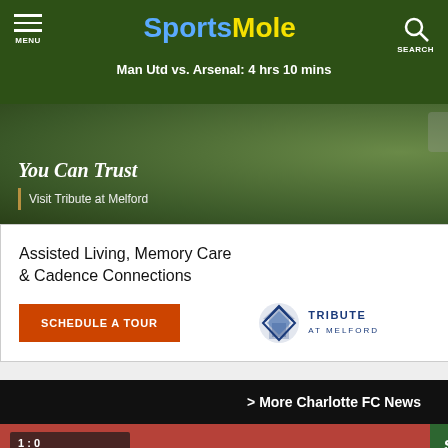SportsMole — Man Utd vs. Arsenal: 4 hrs 10 mins
[Figure (screenshot): Advertisement for Tribute at Melford senior living: photo of building exterior with text 'You Can Trust' and 'Visit Tribute at Melford', plus card with 'Assisted Living, Memory Care & Cadence Connections', 'SCHEDULE A TOUR' button, and Tribute at Melford logo]
> More Charlotte FC News
[Figure (screenshot): Partially visible soccer match video thumbnail showing players on a green field with stadium crowd]
sletter
Daily
Morning Briefing (7am UTC)
Click to subscribe!